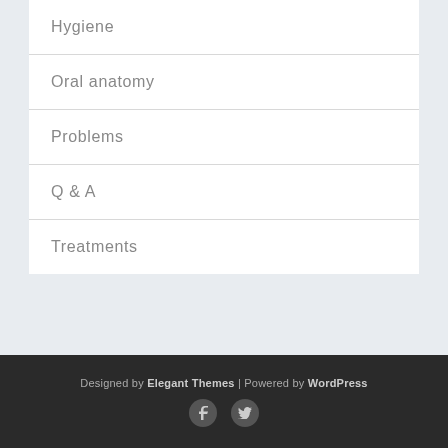Hygiene
Oral anatomy
Problems
Q & A
Treatments
Designed by Elegant Themes | Powered by WordPress